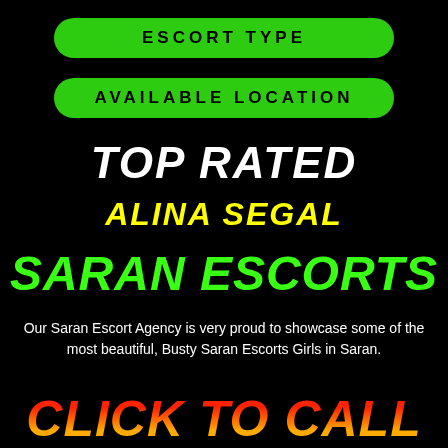ESCORT TYPE
AVAILABLE LOCATION
TOP RATED
ALINA SEGAL
SARAN ESCORTS
Our Saran Escort Agency is very proud to showcase some of the most beautiful, Busty Saran Escorts Girls in Saran.
CLICK TO CALL